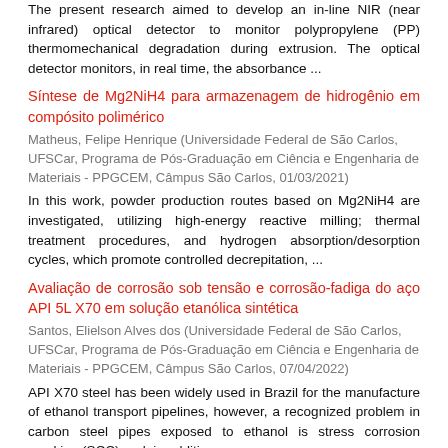The present research aimed to develop an in-line NIR (near infrared) optical detector to monitor polypropylene (PP) thermomechanical degradation during extrusion. The optical detector monitors, in real time, the absorbance ...
Síntese de Mg2NiH4 para armazenagem de hidrogênio em compósito polimérico
Matheus, Felipe Henrique (Universidade Federal de São Carlos, UFSCar, Programa de Pós-Graduação em Ciência e Engenharia de Materiais - PPGCEM, Câmpus São Carlos, 01/03/2021)
In this work, powder production routes based on Mg2NiH4 are investigated, utilizing high-energy reactive milling; thermal treatment procedures, and hydrogen absorption/desorption cycles, which promote controlled decrepitation, ...
Avaliação de corrosão sob tensão e corrosão-fadiga do aço API 5L X70 em solução etanólica sintética
Santos, Elielson Alves dos (Universidade Federal de São Carlos, UFSCar, Programa de Pós-Graduação em Ciência e Engenharia de Materiais - PPGCEM, Câmpus São Carlos, 07/04/2022)
API X70 steel has been widely used in Brazil for the manufacture of ethanol transport pipelines, however, a recognized problem in carbon steel pipes exposed to ethanol is stress corrosion cracking (SCC) and, in addition, ...